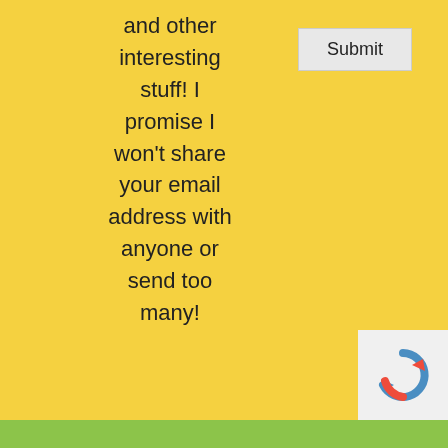and other interesting stuff! I promise I won't share your email address with anyone or send too many!
[Figure (other): Submit button (form input element)]
[Figure (other): reCAPTCHA widget logo in bottom-right corner]